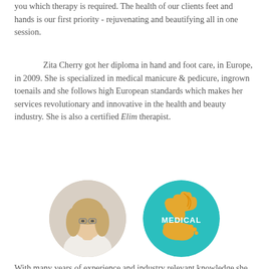you which therapy is required. The health of our clients feet and hands is our first priority - rejuvenating and beautifying all in one session.
Zita Cherry got her diploma in hand and foot care, in Europe, in 2009. She is specialized in medical manicure & pedicure, ingrown toenails and she follows high European standards which makes her services revolutionary and innovative in the health and beauty industry. She is also a certified Elim therapist.
[Figure (photo): Circular portrait photo of a blonde woman with glasses wearing a white top]
[Figure (logo): Circular teal logo with orange hand and foot graphics and the text MEDICAL]
With many years of experience and industry relevant knowledge she provides unique treatments with proven results. By using products that are chemical free, made from pure natural extracts, authentic herbs, marine collagen and algae she is offering safe and natural method of